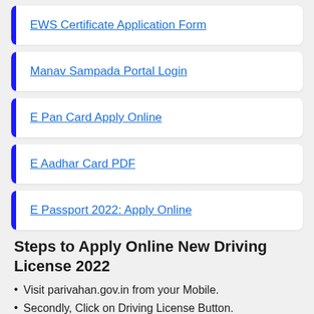EWS Certificate Application Form
Manav Sampada Portal Login
E Pan Card Apply Online
E Aadhar Card PDF
E Passport 2022: Apply Online
Steps to Apply Online New Driving License 2022
Visit parivahan.gov.in from your Mobile.
Secondly, Click on Driving License Button.